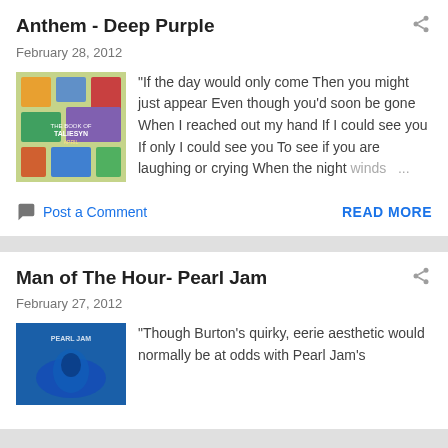Anthem - Deep Purple
February 28, 2012
[Figure (illustration): Album art for The Book of Taliesyn by Deep Purple, colorful illustrated cover]
"If the day would only come Then you might just appear Even though you'd soon be gone When I reached out my hand If I could see you If only I could see you To see if you are laughing or crying When the night winds ...
Post a Comment
READ MORE
Man of The Hour- Pearl Jam
February 27, 2012
[Figure (illustration): Album art for Pearl Jam, blue cover with person underwater]
"Though Burton's quirky, eerie aesthetic would normally be at odds with Pearl Jam's